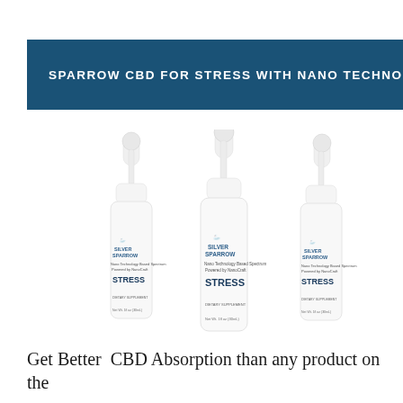SPARROW CBD FOR STRESS WITH NANO TECHNOLOGY
[Figure (photo): Three white dropper bottles of Silver Sparrow CBD for Stress dietary supplement, with blue sparrow logo, labeled 'STRESS' and 'DIETARY SUPPLEMENT', Net Wt. 1fl oz (30mL)]
Get Better CBD Absorption than any product on the